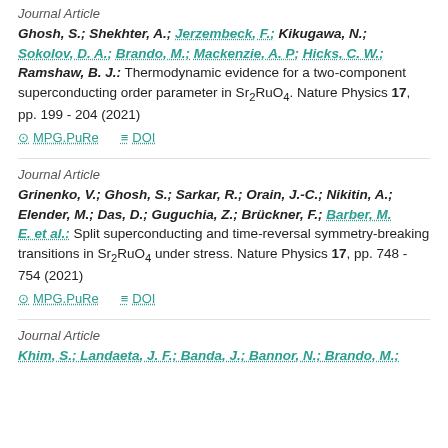Journal Article
Ghosh, S.; Shekhter, A.; Jerzembeck, F.; Kikugawa, N.; Sokolov, D. A.; Brando, M.; Mackenzie, A. P; Hicks, C. W.; Ramshaw, B. J.: Thermodynamic evidence for a two-component superconducting order parameter in Sr2RuO4. Nature Physics 17, pp. 199 - 204 (2021)
MPG.PuRe   DOI
Journal Article
Grinenko, V.; Ghosh, S.; Sarkar, R.; Orain, J.-C.; Nikitin, A.; Elender, M.; Das, D.; Guguchia, Z.; Brückner, F.; Barber, M. E. et al.: Split superconducting and time-reversal symmetry-breaking transitions in Sr2RuO4 under stress. Nature Physics 17, pp. 748 - 754 (2021)
MPG.PuRe   DOI
Journal Article
Khim, S.; Landaeta, J. F.; Banda, J.; Bannor, N.; Brando, M.;